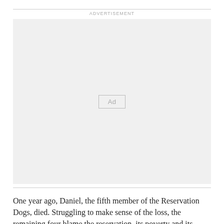ADVERTISEMENT
[Figure (other): Advertisement placeholder box with 'Ad' button in the center]
One year ago, Daniel, the fifth member of the Reservation Dogs, died. Struggling to make sense of the loss, the remaining four blame the reservation, its poverty and its ability to crush the